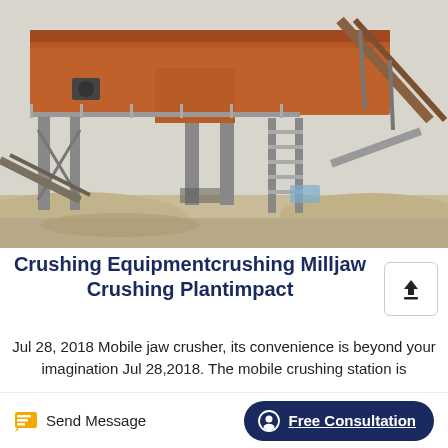[Figure (photo): Industrial crushing/screening plant with orange metal structure, conveyor belts, steel framework, and staircase, photographed outdoors on a sandy/dusty surface]
Crushing Equipmentcrushing Milljaw Crushing Plantimpact
Jul 28, 2018 Mobile jaw crusher, its convenience is beyond your imagination Jul 28,2018. The mobile crushing station is
Send Message
Free Consultation